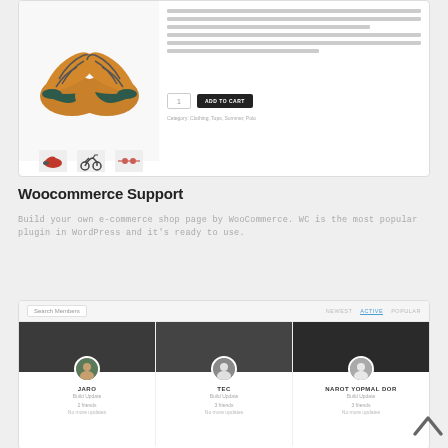[Figure (screenshot): WooCommerce product page screenshot showing orange shoes, quantity selector, ADD TO CART button, and product thumbnail images of red shoes, scooter, and sunglasses]
Woocommerce Support
Build your own e-commerce shop page by WooCommerce. WC is the most popular plugin in WordPress and it's ready to use.
[Figure (screenshot): Social network members page screenshot showing three member cards (JARO, TEC, NAROT YOPMAL DOR) with profile photos, roles, and stats, with tab navigation (NEWEST, ACTIVE, POPULAR)]